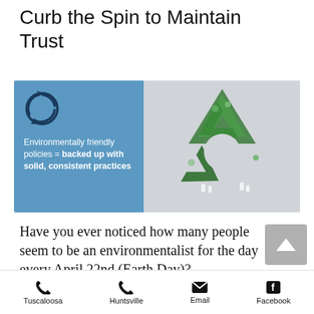Curb the Spin to Maintain Trust
[Figure (infographic): Blue speech bubble box on left with a circular arrows recycle icon and text 'Environmentally friendly policies = backed up with solid, consistent practices'. Right side shows a large green recycling symbol filled with nature scenes including trees, plants, and people.]
Have you ever noticed how many people seem to be an environmentalist for the day every April 22nd (Earth Day)?
Tuscaloosa  Huntsville  Email  Facebook